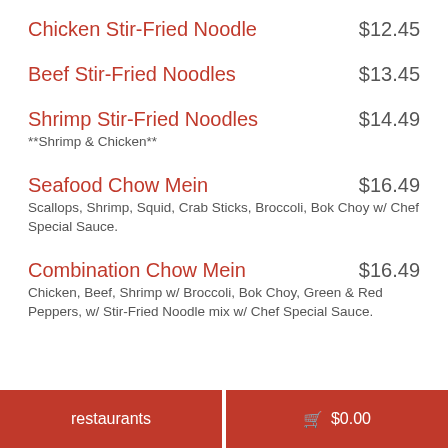Chicken Stir-Fried Noodle $12.45
Beef Stir-Fried Noodles $13.45
Shrimp Stir-Fried Noodles $14.49 **Shrimp & Chicken**
Seafood Chow Mein $16.49 Scallops, Shrimp, Squid, Crab Sticks, Broccoli, Bok Choy w/ Chef Special Sauce.
Combination Chow Mein $16.49 Chicken, Beef, Shrimp w/ Broccoli, Bok Choy, Green & Red Peppers, w/ Stir-Fried Noodle mix w/ Chef Special Sauce.
restaurants   🛒 $0.00